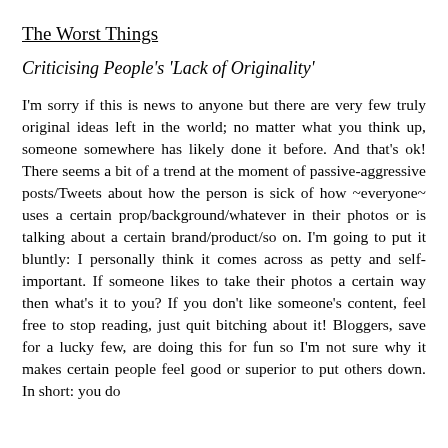The Worst Things
Criticising People's 'Lack of Originality'
I'm sorry if this is news to anyone but there are very few truly original ideas left in the world; no matter what you think up, someone somewhere has likely done it before. And that's ok! There seems a bit of a trend at the moment of passive-aggressive posts/Tweets about how the person is sick of how ~everyone~ uses a certain prop/background/whatever in their photos or is talking about a certain brand/product/so on. I'm going to put it bluntly: I personally think it comes across as petty and self-important. If someone likes to take their photos a certain way then what's it to you? If you don't like someone's content, feel free to stop reading, just quit bitching about it! Bloggers, save for a lucky few, are doing this for fun so I'm not sure why it makes certain people feel good or superior to put others down. In short: you do